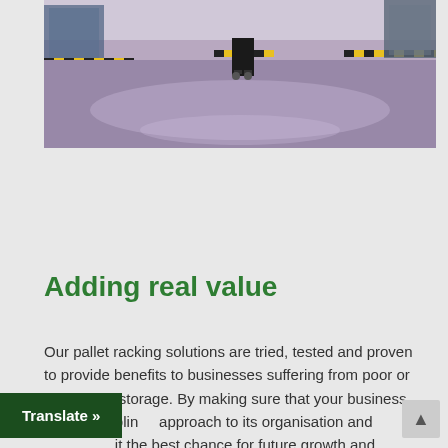[Figure (photo): Interior of a large warehouse with reflective concrete floor, yellow-and-black striped safety markings on shelving units, and a person pushing a cart in the background.]
Adding real value
Our pallet racking solutions are tried, tested and proven to provide benefits to businesses suffering from poor or insufficient storage. By making sure that your business has a disciplined approach to its organisation and gives it the best chance for future growth and